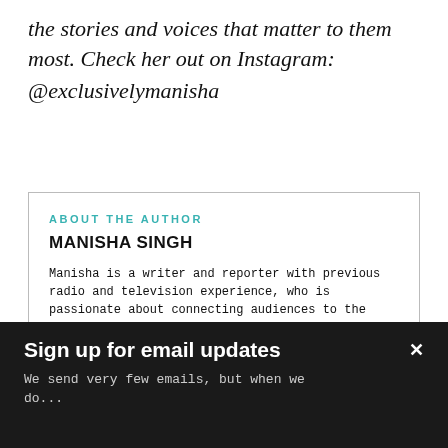the stories and voices that matter to them most. Check her out on Instagram: @exclusivelymanisha
ABOUT THE AUTHOR
MANISHA SINGH
Manisha is a writer and reporter with previous radio and television experience, who is passionate about connecting audiences to the stories and voices that matter to them most. Check her out on Instagram: @exclusivelymanisha
Sign up for email updates
We send very few emails, but when we do...